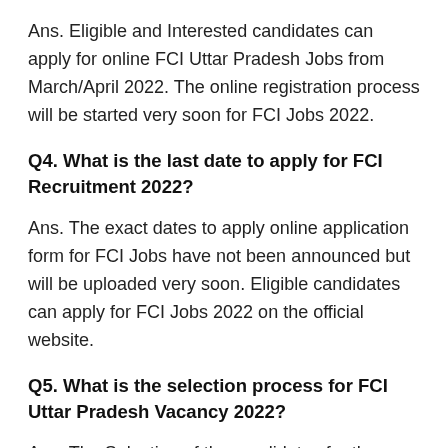Ans. Eligible and Interested candidates can apply for online FCI Uttar Pradesh Jobs from March/April 2022. The online registration process will be started very soon for FCI Jobs 2022.
Q4. What is the last date to apply for FCI Recruitment 2022?
Ans. The exact dates to apply online application form for FCI Jobs have not been announced but will be uploaded very soon. Eligible candidates can apply for FCI Jobs 2022 on the official website.
Q5. What is the selection process for FCI Uttar Pradesh Vacancy 2022?
Ans. The Selection of the candidates for these jobs